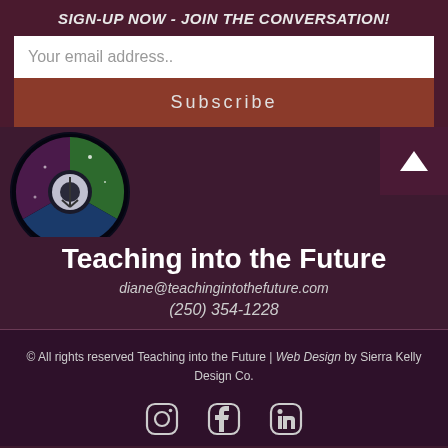SIGN-UP NOW - JOIN THE CONVERSATION!
Your email address..
Subscribe
[Figure (photo): Circular logo image with colorful disc/peace symbol on dark background]
Teaching into the Future
diane@teachingintothefuture.com
(250) 354-1228
© All rights reserved Teaching into the Future | Web Design by Sierra Kelly Design Co.
[Figure (other): Social media icons: Instagram, Facebook, LinkedIn]